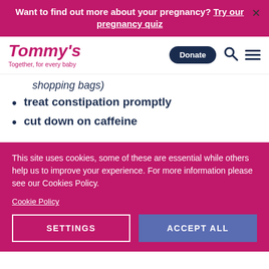Want to find out more about your pregnancy? Try our pregnancy quiz
[Figure (logo): Tommy's logo with tagline 'Together, for every baby', with Donate button, search icon, and hamburger menu]
shopping bags)
treat constipation promptly
cut down on caffeine
This site uses cookies, some of these are essential while others help us to improve your experience. For more information please see our Cookies Policy.
Cookie Policy
SETTINGS
ACCEPT ALL